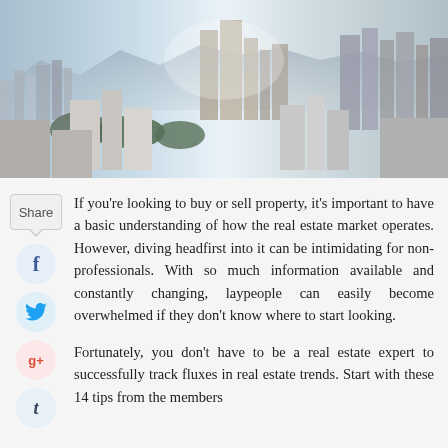[Figure (photo): Aerial cityscape with dense urban high-rise buildings, blue-grey tones, mountains in background]
If you're looking to buy or sell property, it's important to have a basic understanding of how the real estate market operates. However, diving headfirst into it can be intimidating for non-professionals. With so much information available and constantly changing, laypeople can easily become overwhelmed if they don't know where to start looking.
Fortunately, you don't have to be a real estate expert to successfully track fluxes in real estate trends. Start with these 14 tips from the members